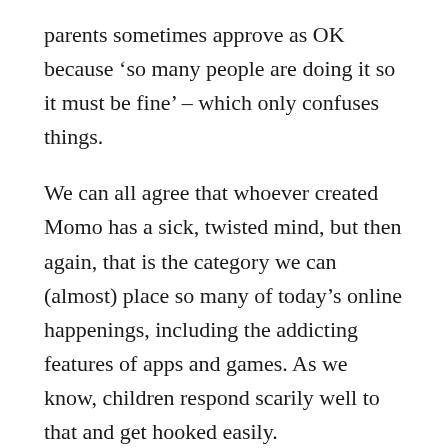parents sometimes approve as OK because ‘so many people are doing it so it must be fine’ – which only confuses things.
We can all agree that whoever created Momo has a sick, twisted mind, but then again, that is the category we can (almost) place so many of today’s online happenings, including the addicting features of apps and games. As we know, children respond scarily well to that and get hooked easily.
The reality is, the internet murkiness and disturbing at times content will not go away. I say this with profound sadness. I grew up without the internet and loved it, and I love it even more now, retrospectively. It had all the